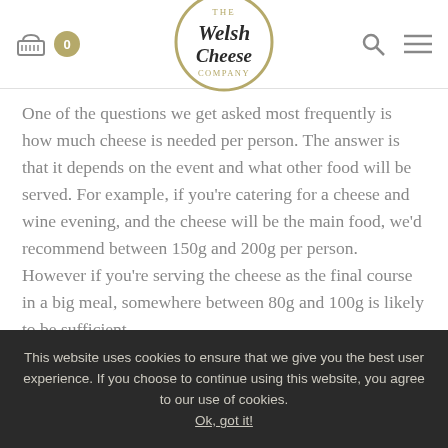The Welsh Cheese Company — navigation header with cart (0), logo, search and menu icons
One of the questions we get asked most frequently is how much cheese is needed per person. The answer is that it depends on the event and what other food will be served. For example, if you're catering for a cheese and wine evening, and the cheese will be the main food, we'd recommend between 150g and 200g per person. However if you're serving the cheese as the final course in a big meal, somewhere between 80g and 100g is likely to be sufficient.
[Figure (photo): Two bullet-point image placeholders showing cheese product images, beige/tan colored]
This website uses cookies to ensure that we give you the best user experience. If you choose to continue using this website, you agree to our use of cookies. Ok, got it!